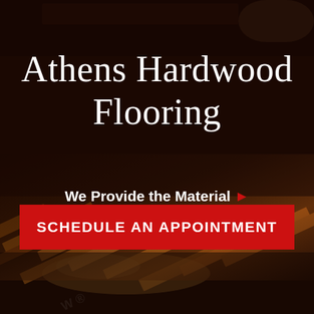[Figure (photo): Dark background image of hardwood flooring in a room with warm amber/brown tones, furniture visible at top]
Athens Hardwood Flooring
We Provide the Material ▶ We Clean Up & Leave
SCHEDULE AN APPOINTMENT